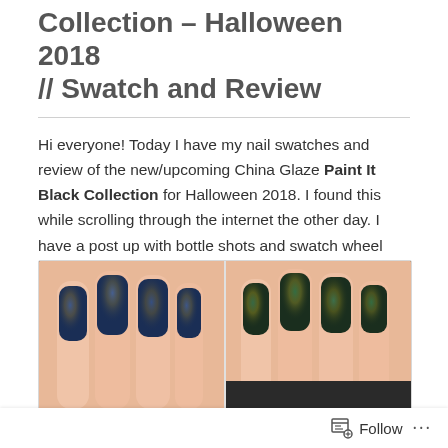Collection – Halloween 2018 // Swatch and Review
Hi everyone! Today I have my nail swatches and review of the new/upcoming China Glaze Paint It Black Collection for Halloween 2018. I found this while scrolling through the internet the other day. I have a post up with bottle shots and swatch wheel photos, if you want to see those click HERE. I am not affiliated with China Glaze.
[Figure (photo): Two side-by-side nail swatch photos showing dark holographic nail polish shades. Left photo shows dark navy/blue holographic glitter nails. Right photo shows dark green/black holographic glitter nails.]
Follow ···